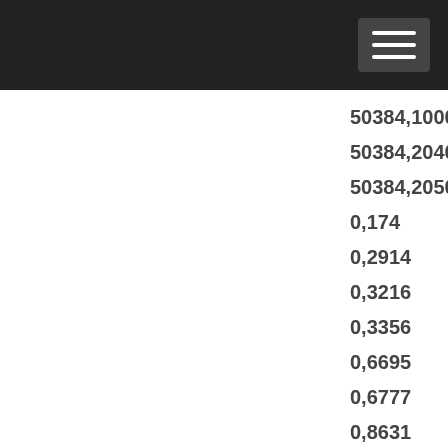50384,1000
50384,2040
50384,2050
0,174
0,2914
0,3216
0,3356
0,6695
0,6777
0,8631
0,8732
0,9002
0,12389
0,15169
0,20485
0,20764
0,24115
0,29076
0,31500
0,34307